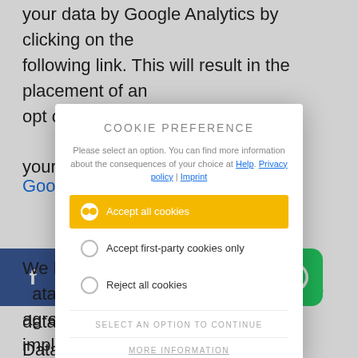your data by Google Analytics by clicking on the following link. This will result in the placement of an opt out cookie which prevents the collection of your data by Google Analytics.
[Figure (screenshot): Cookie Preference modal dialog with options: Accept all cookies (selected, yellow background), Accept first-party cookies only, Reject all cookies. Footer shows SELECT AN OPTION TO CONTINUE and MORE INFORMATION. Description text says: Please select an option. You can find more information about the consequences of your choice at Help. Privacy policy | Imprint]
For more information on how Google collects and processes data by Google's privacy policy, please see Google's Data Privacy at https://...0004245...hl=en.
Contra
[Figure (screenshot): Social media icons bar: Facebook, Twitter, Pinterest, Email, WhatsApp]
We have executed a data processing agreement with Google and are implementing the